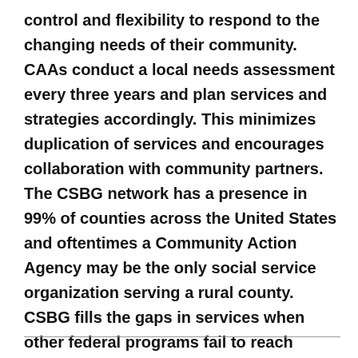control and flexibility to respond to the changing needs of their community. CAAs conduct a local needs assessment every three years and plan services and strategies accordingly. This minimizes duplication of services and encourages collaboration with community partners. The CSBG network has a presence in 99% of counties across the United States and oftentimes a Community Action Agency may be the only social service organization serving a rural county.  CSBG fills the gaps in services when other federal programs fail to reach vulnerable populations.